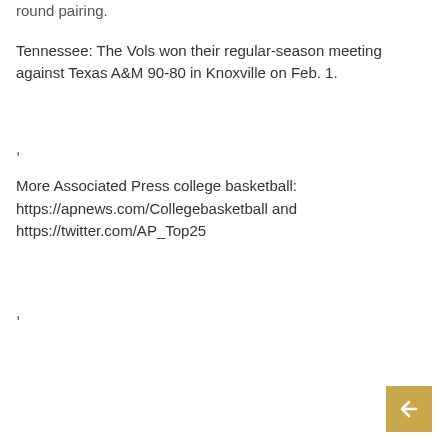round pairing.
Tennessee: The Vols won their regular-season meeting against Texas A&M 90-80 in Knoxville on Feb. 1.
,
More Associated Press college basketball: https://apnews.com/Collegebasketball and https://twitter.com/AP_Top25
,